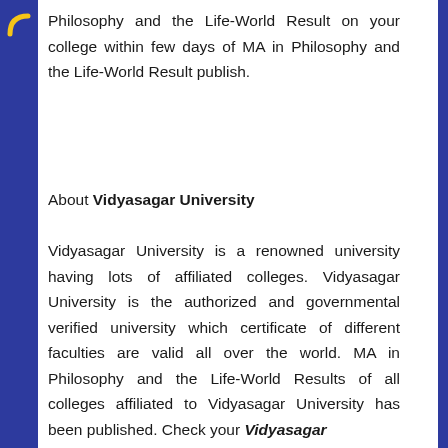Philosophy and the Life-World Result on your college within few days of MA in Philosophy and the Life-World Result publish.
About Vidyasagar University
Vidyasagar University is a renowned university having lots of affiliated colleges. Vidyasagar University is the authorized and governmental verified university which certificate of different faculties are valid all over the world. MA in Philosophy and the Life-World Results of all colleges affiliated to Vidyasagar University has been published. Check your Vidyasagar